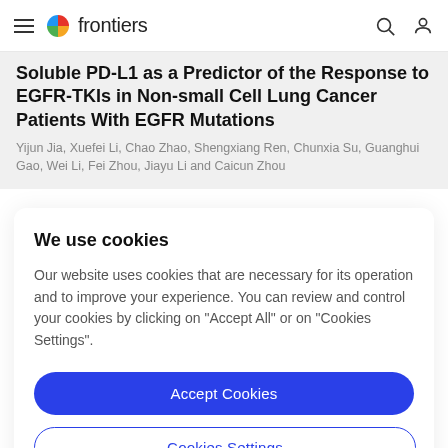frontiers
Soluble PD-L1 as a Predictor of the Response to EGFR-TKIs in Non-small Cell Lung Cancer Patients With EGFR Mutations
Yijun Jia, Xuefei Li, Chao Zhao, Shengxiang Ren, Chunxia Su, Guanghui Gao, Wei Li, Fei Zhou, Jiayu Li and Caicun Zhou
We use cookies
Our website uses cookies that are necessary for its operation and to improve your experience. You can review and control your cookies by clicking on "Accept All" or on "Cookies Settings".
Accept Cookies
Cookies Settings